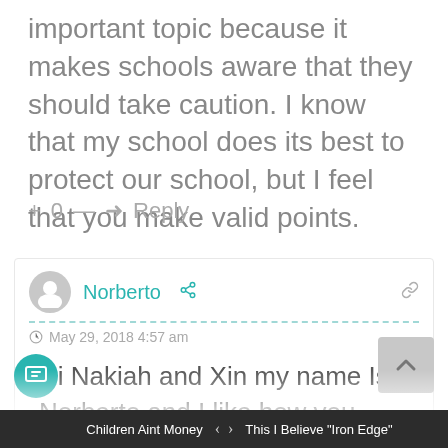important topic because it makes schools aware that they should take caution. I know that my school does its best to protect our school, but I feel that you make valid points.
+ 0 — ➜ Reply
Norberto
May 29, 2018 4:57 am
Hi Nakiah and Xin my name Is Norberto and I like how you think that we should not have any of this type of violence i was also really impressed of how its really well written and also because this was a way of motivating people of the community to not give up and
Children Aint Money   ‹  ›   This I Believe "Iron Edge"